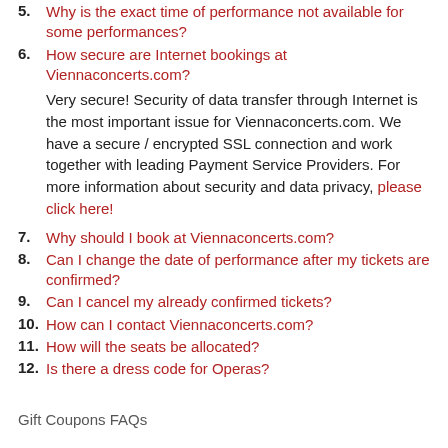5. Why is the exact time of performance not available for some performances?
6. How secure are Internet bookings at Viennaconcerts.com?
Very secure! Security of data transfer through Internet is the most important issue for Viennaconcerts.com. We have a secure / encrypted SSL connection and work together with leading Payment Service Providers. For more information about security and data privacy, please click here!
7. Why should I book at Viennaconcerts.com?
8. Can I change the date of performance after my tickets are confirmed?
9. Can I cancel my already confirmed tickets?
10. How can I contact Viennaconcerts.com?
11. How will the seats be allocated?
12. Is there a dress code for Operas?
Gift Coupons FAQs